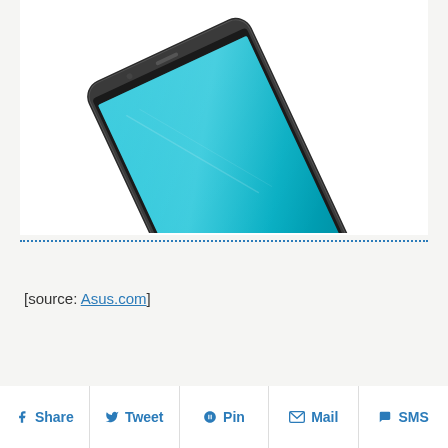[Figure (photo): ASUS smartphone/tablet showing a teal/turquoise screen, viewed at an angle, with ASUS logo visible on the bottom bezel, dark metallic frame]
[source: Asus.com]
Share | Tweet | Pin | Mail | SMS